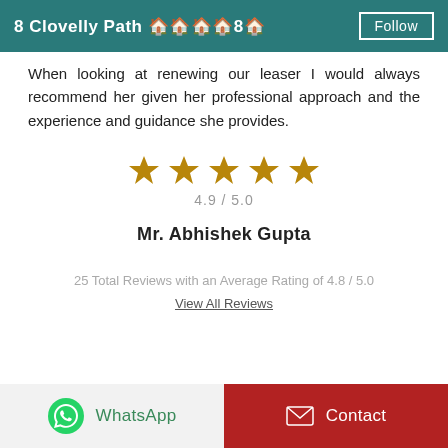8 Clovelly Path 🏠🏠🏠🏠8🏠 | Follow
When looking at renewing our leaser I would always recommend her given her professional approach and the experience and guidance she provides.
[Figure (other): Five gold star rating icons]
4.9 / 5.0
Mr. Abhishek Gupta
25 Total Reviews with an Average Rating of 4.8 / 5.0
View All Reviews
WhatsApp | Contact